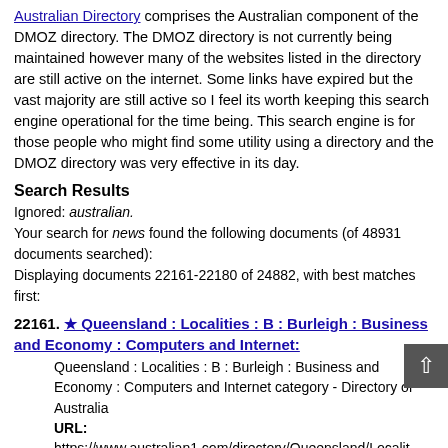Australian Directory comprises the Australian component of the DMOZ directory. The DMOZ directory is not currently being maintained however many of the websites listed in the directory are still active on the internet. Some links have expired but the vast majority are still active so I feel its worth keeping this search engine operational for the time being. This search engine is for those people who might find some utility using a directory and the DMOZ directory was very effective in its day.
Search Results
Ignored: australian.
Your search for news found the following documents (of 48931 documents searched):
Displaying documents 22161-22180 of 24882, with best matches first:
22161. ★ Queensland : Localities : B : Burleigh : Business and Economy : Computers and Internet:
Queensland : Localities : B : Burleigh : Business and Economy : Computers and Internet category - Directory of Australia
URL:
https://www.australian1.com/directory/Queensland/Localities/B/Burleigh/Business_and_Economy/Computers_and_Internet/